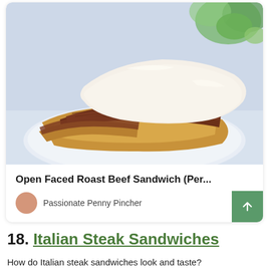[Figure (photo): A photo of an open faced roast beef sandwich with melted white cheese on a plate, with a green salad visible in the background]
Open Faced Roast Beef Sandwich (Per...
Passionate Penny Pincher
18. Italian Steak Sandwiches
How do Italian steak sandwiches look and taste?